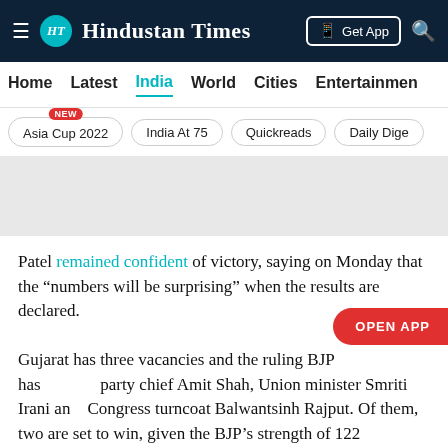Hindustan Times
Home | Latest | India | World | Cities | Entertainment
Asia Cup 2022 NEW | India At 75 | Quickreads | Daily Dige
[Figure (other): Gray advertisement placeholder banner]
Patel remained confident of victory, saying on Monday that the “numbers will be surprising” when the results are declared.
Gujarat has three vacancies and the ruling BJP has party chief Amit Shah, Union minister Smriti Irani and Congress turncoat Balwantsinh Rajput. Of them, two are set to win, given the BJP’s strength of 122 lawmakers in the assembly.
For the third seat, Congress chief Sonia Gandhi’s political secretary Patel is up against Rajput.